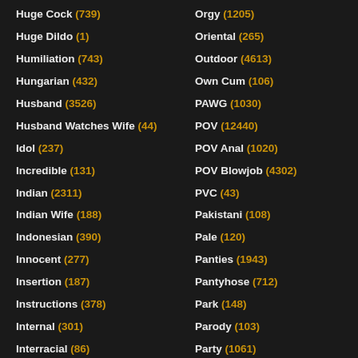Huge Cock (739)
Huge Dildo (1)
Humiliation (743)
Hungarian (432)
Husband (3526)
Husband Watches Wife (44)
Idol (237)
Incredible (131)
Indian (2311)
Indian Wife (188)
Indonesian (390)
Innocent (277)
Insertion (187)
Instructions (378)
Internal (301)
Interracial (86)
Orgy (1205)
Oriental (265)
Outdoor (4613)
Own Cum (106)
PAWG (1030)
POV (12440)
POV Anal (1020)
POV Blowjob (4302)
PVC (43)
Pakistani (108)
Pale (120)
Panties (1943)
Pantyhose (712)
Park (148)
Parody (103)
Party (1061)